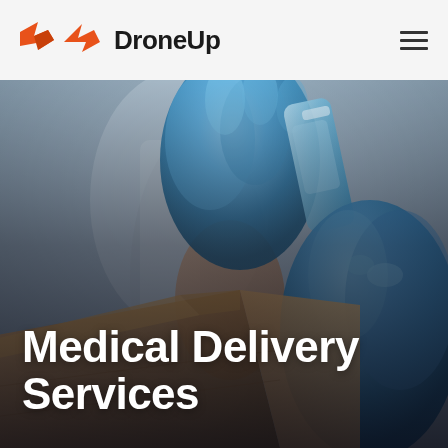DroneUp
[Figure (photo): Close-up photo of blue latex gloved hands holding a blue spray bottle above a cardboard box, with a blurred clinical background. The scene suggests medical or sanitary delivery packaging.]
Medical Delivery Services